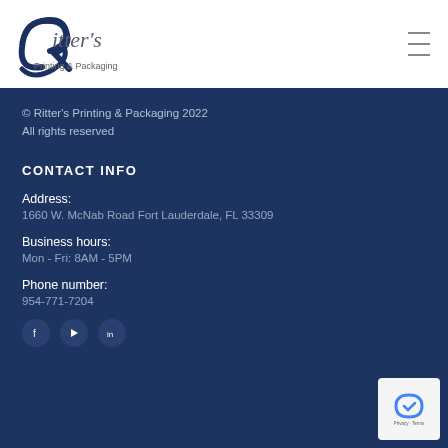[Figure (logo): Ritter's Printing & Packaging logo with stylized R and swirl]
Ritter's Printing & Packaging — navigation header with hamburger menu
© Ritter's Printing & Packaging 2022
All rights reserved
CONTACT INFO
Address:
1660 W. McNab Road Fort Lauderdale, FL 33309
Business hours:
Mon - Fri: 8AM - 5PM
Phone number:
954-771-7204